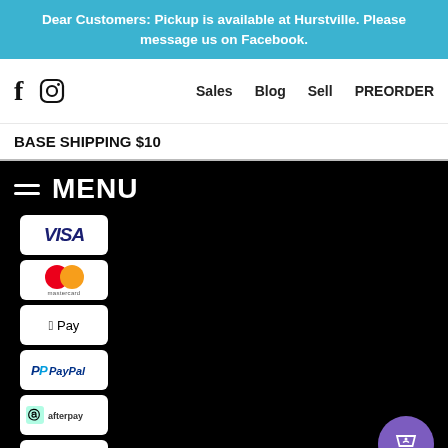Dear Customers: Pickup is available at Hurstville. Please message us on Facebook.
f  [instagram icon]  Sales  Blog  Sell  PREORDER
BASE SHIPPING $10
MENU
[Figure (other): Payment method logos stacked vertically: Visa, Mastercard, Apple Pay, PayPal, Afterpay, Zippay]
AUD  GAMERHOLIC © 2022